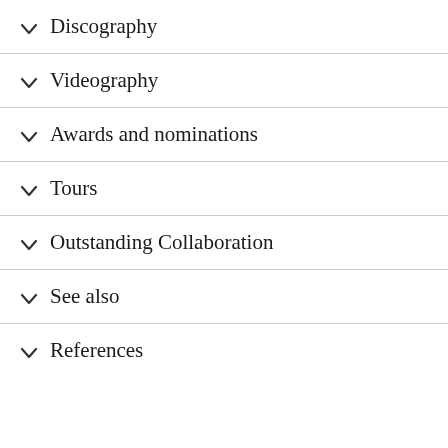Discography
Videography
Awards and nominations
Tours
Outstanding Collaboration
See also
References